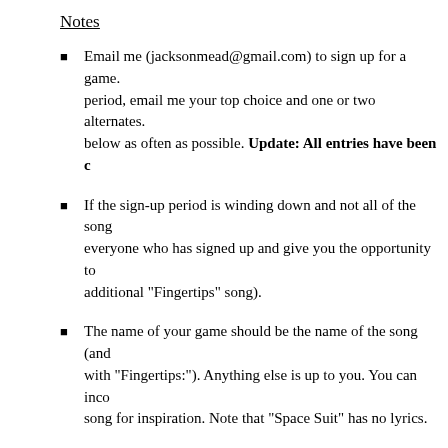Notes
Email me (jacksonmead@gmail.com) to sign up for a game. period, email me your top choice and one or two alternates. below as often as possible. Update: All entries have been c
If the sign-up period is winding down and not all of the song everyone who has signed up and give you the opportunity to additional "Fingertips" song).
The name of your game should be the name of the song (and with "Fingertips:"). Anything else is up to you. You can inco song for inspiration. Note that "Space Suit" has no lyrics.
Games should be short (except for the "Fingertips" games, w below). Ideally the maximum play time would be around 15 just fine.
To keep things simple, the "Fingertips" games should be a si